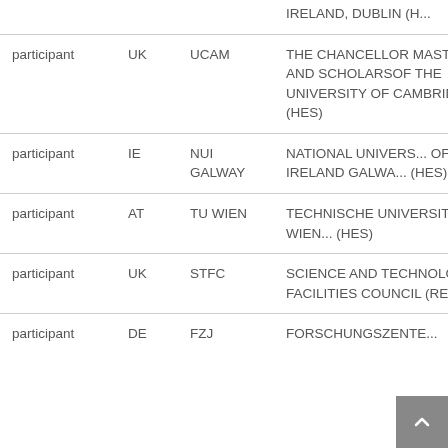| Role | Country | Short name | Full name |
| --- | --- | --- | --- |
|  |  |  | IRELAND, DUBLIN (H... |
| participant | UK | UCAM | THE CHANCELLOR MASTERS AND SCHOLARSOF THE UNIVERSITY OF CAMBRIDGE (HES) |
| participant | IE | NUI GALWAY | NATIONAL UNIVERS... OF IRELAND GALWA... (HES) |
| participant | AT | TU WIEN | TECHNISCHE UNIVERSITAET WIEN... (HES) |
| participant | UK | STFC | SCIENCE AND TECHNOLOGY FACILITIES COUNCIL (REC) |
| participant | DE | FZJ | FORSCHUNGSZENTE... |